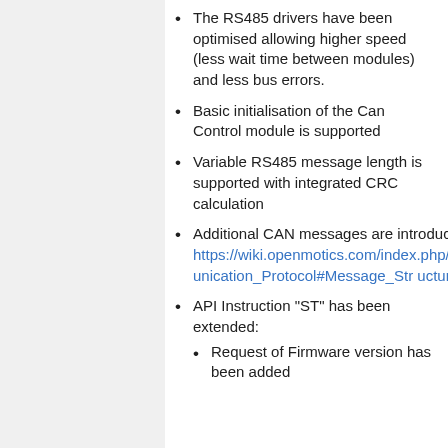The RS485 drivers have been optimised allowing higher speed (less wait time between modules) and less bus errors.
Basic initialisation of the Can Control module is supported
Variable RS485 message length is supported with integrated CRC calculation
Additional CAN messages are introduced, see https://wiki.openmotics.com/index.php/Can_Control_RS485_Communication_Protocol#Message_Structure
API Instruction "ST" has been extended:
Request of Firmware version has been added